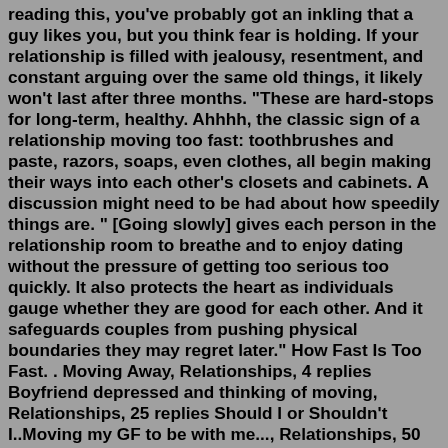reading this, you've probably got an inkling that a guy likes you, but you think fear is holding. If your relationship is filled with jealousy, resentment, and constant arguing over the same old things, it likely won't last after three months. "These are hard-stops for long-term, healthy. Ahhhh, the classic sign of a relationship moving too fast: toothbrushes and paste, razors, soaps, even clothes, all begin making their ways into each other's closets and cabinets. A discussion might need to be had about how speedily things are. " [Going slowly] gives each person in the relationship room to breathe and to enjoy dating without the pressure of getting too serious too quickly. It also protects the heart as individuals gauge whether they are good for each other. And it safeguards couples from pushing physical boundaries they may regret later." How Fast Is Too Fast. . Moving Away, Relationships, 4 replies Boyfriend depressed and thinking of moving, Relationships, 25 replies Should I or Shouldn't I..Moving my GF to be with me..., Relationships, 50 replies Moving too fast .....